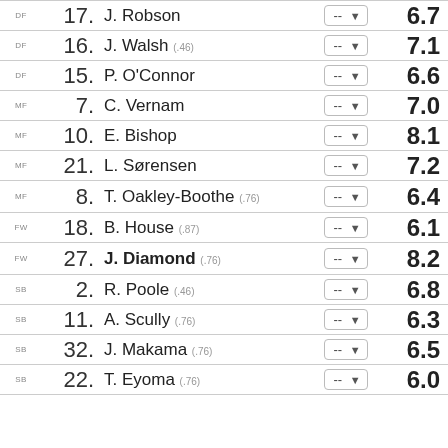| Pos | No. | Name | Rating | Score |
| --- | --- | --- | --- | --- |
| DF | 17. | J. Robson | -- | 6.7 |
| DF | 16. | J. Walsh (.46) | -- | 7.1 |
| DF | 15. | P. O'Connor | -- | 6.6 |
| MF | 7. | C. Vernam | -- | 7.0 |
| MF | 10. | E. Bishop | -- | 8.1 |
| MF | 21. | L. Sørensen | -- | 7.2 |
| MF | 8. | T. Oakley-Boothe (.76) | -- | 6.4 |
| FW | 18. | B. House (.87) | -- | 6.1 |
| FW | 27. | J. Diamond (.76) | -- | 8.2 |
| SB | 2. | R. Poole (.46) | -- | 6.8 |
| SB | 11. | A. Scully (.76) | -- | 6.3 |
| SB | 32. | J. Makama (.76) | -- | 6.5 |
| SB | 22. | T. Eyoma (.76) | -- | 6.0 |